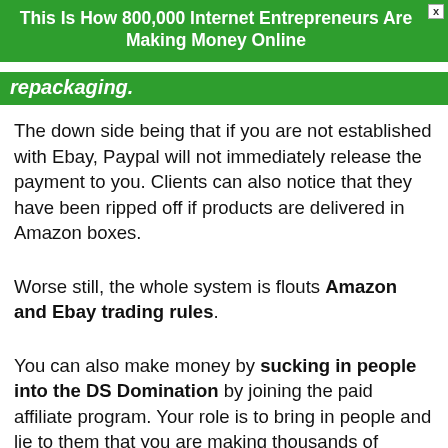This Is How 800,000 Internet Entrepreneurs Are Making Money Online
repackaging.
The down side being that if you are not established with Ebay, Paypal will not immediately release the payment to you. Clients can also notice that they have been ripped off if products are delivered in Amazon boxes.
Worse still, the whole system is flouts Amazon and Ebay trading rules.
You can also make money by sucking in people into the DS Domination by joining the paid affiliate program. Your role is to bring in people and lie to them that you are making thousands of dollars using the system on Ebay. Yet you really know that that money is coming from them as you deceive them into buying non-refundable up-sells.